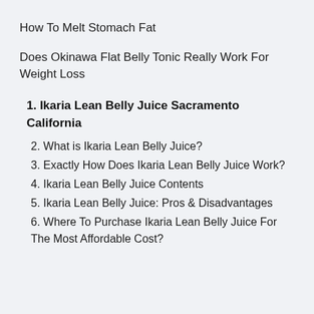How To Melt Stomach Fat
Does Okinawa Flat Belly Tonic Really Work For Weight Loss
1. Ikaria Lean Belly Juice Sacramento California
2. What is Ikaria Lean Belly Juice?
3. Exactly How Does Ikaria Lean Belly Juice Work?
4. Ikaria Lean Belly Juice Contents
5. Ikaria Lean Belly Juice: Pros & Disadvantages
6. Where To Purchase Ikaria Lean Belly Juice For The Most Affordable Cost?